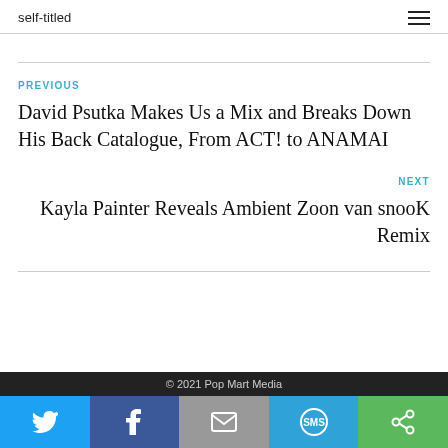self-titled
PREVIOUS
David Psutka Makes Us a Mix and Breaks Down His Back Catalogue, From ACT! to ANAMAI
NEXT
Kayla Painter Reveals Ambient Zoon van snooK Remix
© 2021 Pop Mart Media